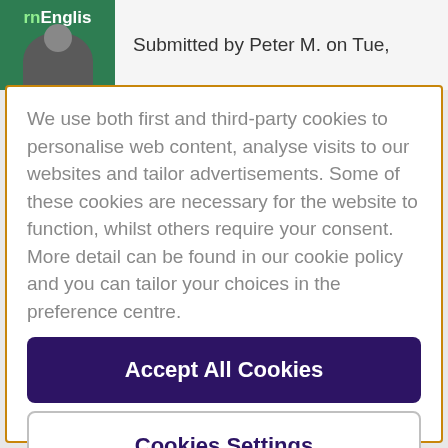Submitted by Peter M. on Tue,
We use both first and third-party cookies to personalise web content, analyse visits to our websites and tailor advertisements. Some of these cookies are necessary for the website to function, whilst others require your consent. More detail can be found in our cookie policy and you can tailor your choices in the preference centre.
Accept All Cookies
Cookies Settings